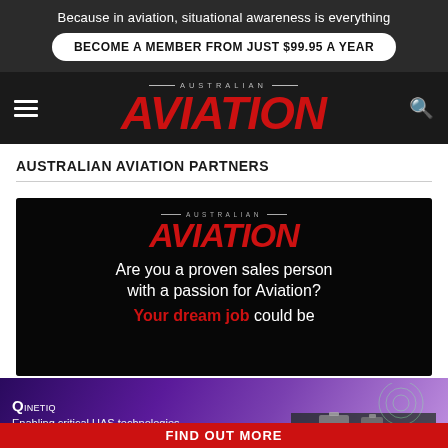Because in aviation, situational awareness is everything
BECOME A MEMBER FROM JUST $99.95 A YEAR
[Figure (logo): Australian Aviation magazine logo with red italic AVIATION text on dark background]
AUSTRALIAN AVIATION PARTNERS
[Figure (infographic): Australian Aviation magazine advertisement: logo at top, text 'Are you a proven sales person with a passion for Aviation? Your dream job could be' with red dream job text, on dark background]
[Figure (infographic): QinetiQ advertisement banner: purple gradient background, QinetiQ logo, 'Enabling critical UAS technologies' tagline, UAS imagery on right, FIND OUT MORE red button at bottom]